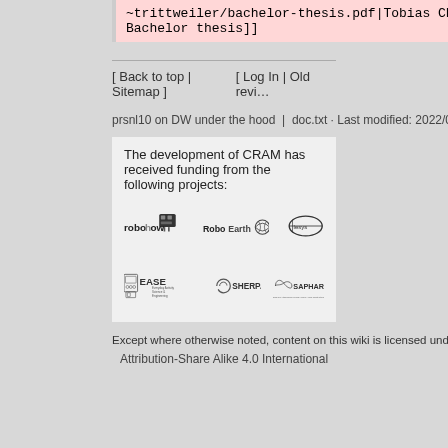~trittweiler/bachelor-thesis.pdf|Tobias Christian Rittweiler. Bachelor thesis]]
[ Back to top | Sitemap ]    [ Log In | Old revi…
prsnl10 on DW under the hood  |  doc.txt · Last modified: 2022/04/19 14:48 by gkazho…
[Figure (logo): Logos: robohow, RoboEarth, olesys, EASE Everyday Activity Science & Engineering, SHERPA, SAPHARI]
The development of CRAM has received funding from the following projects:
Except where otherwise noted, content on this wiki is licensed under the following license:
Attribution-Share Alike 4.0 International